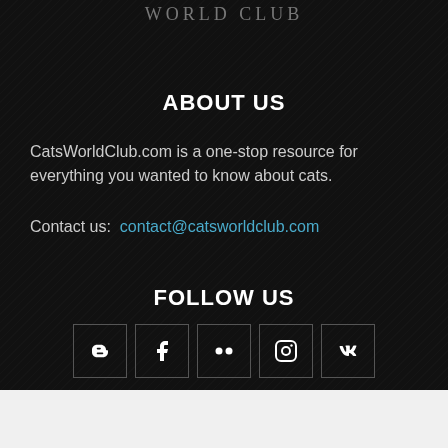WORLD CLUB
ABOUT US
CatsWorldClub.com is a one-stop resource for everything you wanted to know about cats.
Contact us: contact@catsworldclub.com
FOLLOW US
[Figure (infographic): Five social media icon boxes: Blogger (B), Facebook (f), Flickr (two dots), Instagram (camera), VK (VK logo)]